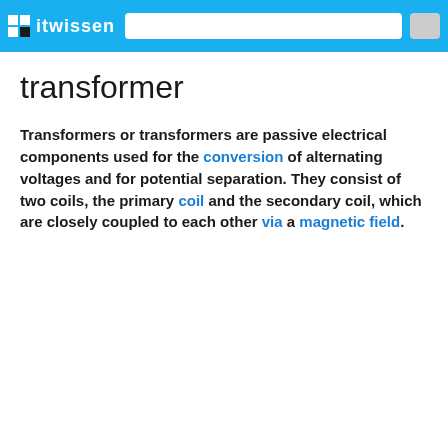itwissen
transformer
Transformers or transformers are passive electrical components used for the conversion of alternating voltages and for potential separation. They consist of two coils, the primary coil and the secondary coil, which are closely coupled to each other via a magnetic field.